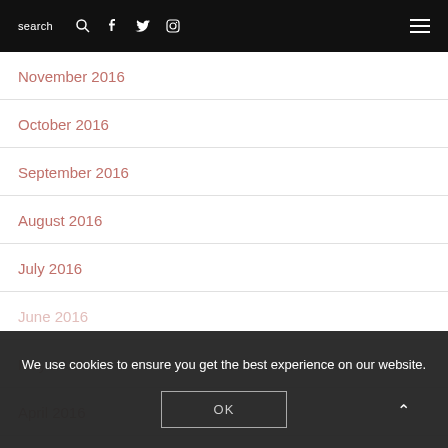search [search icon] [facebook icon] [twitter icon] [instagram icon] [menu icon]
November 2016
October 2016
September 2016
August 2016
July 2016
June 2016
May 2016
April 2016
March 2016
We use cookies to ensure you get the best experience on our website.
OK